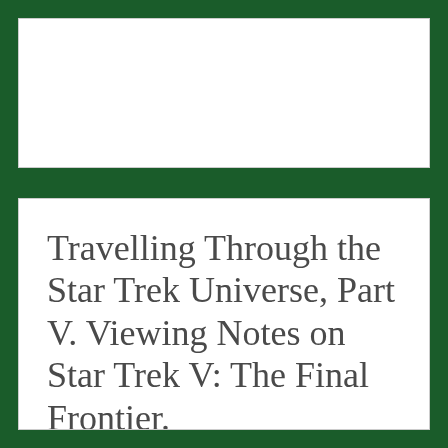[Figure (other): White rectangular card placeholder area at top of page on dark green background]
Travelling Through the Star Trek Universe, Part V. Viewing Notes on Star Trek V: The Final Frontier. @KesselJunkie @WilliamShatner @StarTrek @Hulu #StarTrek #GuiltyPleasure #movie